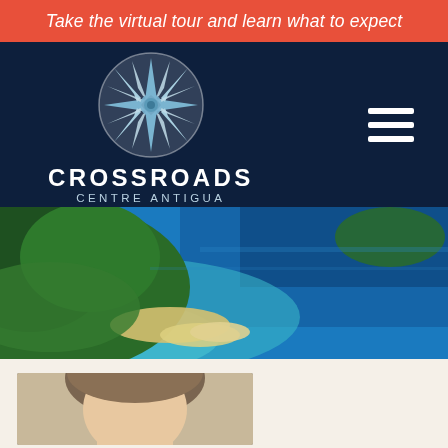Take the virtual tour and learn what to expect
[Figure (logo): Crossroads Centre Antigua logo: compass rose in a circle above text 'CROSSROADS CENTRE ANTIGUA' on dark navy background with hamburger menu icon]
[Figure (photo): Aerial photo of a tropical island with green vegetation, sandy beaches, and vivid blue ocean water]
[Figure (photo): Partial view of a person's face/head at the bottom of the page, appears to be a video thumbnail]